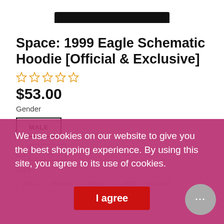[Figure (photo): Top portion of a black hoodie product image, cropped at top of page]
Space: 1999 Eagle Schematic Hoodie [Official & Exclusive]
☆☆☆☆☆ (star rating, 0 stars)
$53.00
Gender
MALE
Size
SMALL   MEDIUM   LARGE   X-LARGE   2X-LARGE
We use cookies on our website to give you the best shopping experience. By using this site, you agree to its use of cookies.
I agree